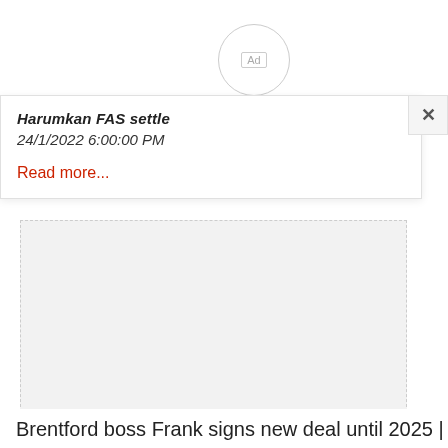[Figure (other): Advertisement placeholder circle with 'Ad' label]
Harumkan FAS settle
24/1/2022 6:00:00 PM
Read more...
[Figure (other): Grey advertisement placeholder box]
Brentford boss Frank signs new deal until 2025 |